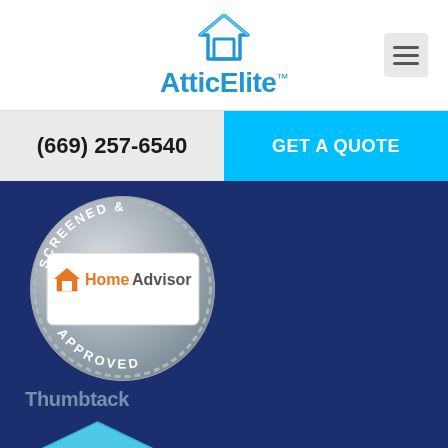[Figure (logo): AtticElite logo with house icon in blue]
[Figure (other): Hamburger menu icon (three horizontal lines) in gray rounded square]
(669) 257-6540
GET A QUOTE
[Figure (other): HomeAdvisor Screened & Approved badge — circular silver medallion with HomeAdvisor logo in the center]
Thumbtack
[Figure (other): Thumbtack Professional 2020 badge — light blue hexagon with yellow star and text 'Professional 2020']